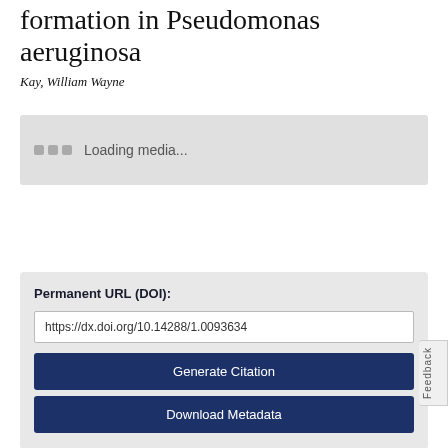formation in Pseudomonas aeruginosa
Kay, William Wayne
[Figure (other): Media loading placeholder box with three grey squares and 'Loading media...' text]
Permanent URL (DOI):
https://dx.doi.org/10.14288/1.0093634
Generate Citation
Download Metadata